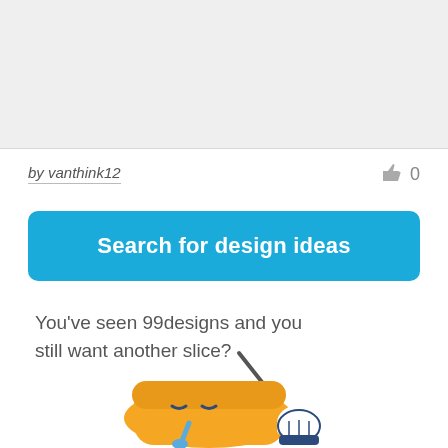[Figure (other): Gray placeholder image area at the top of the page]
by vanthink12
0
Search for design ideas
You've seen 99designs and you still want another slice?
[Figure (illustration): Cartoon illustration of a sleepy pizza slice character at the bottom of the page]